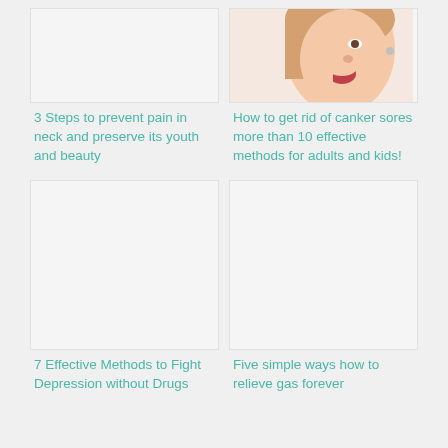[Figure (photo): Blank/white image placeholder for neck pain article]
3 Steps to prevent pain in neck and preserve its youth and beauty
[Figure (photo): Woman touching her mouth/cheek, canker sores article]
How to get rid of canker sores more than 10 effective methods for adults and kids!
[Figure (photo): Blank/white image placeholder for depression article]
7 Effective Methods to Fight Depression without Drugs
[Figure (photo): Blank/white image placeholder for gas relief article]
Five simple ways how to relieve gas forever